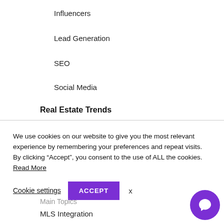Influencers
Lead Generation
SEO
Social Media
Real Estate Trends
We use cookies on our website to give you the most relevant experience by remembering your preferences and repeat visits. By clicking “Accept”, you consent to the use of ALL the cookies. Read More
Cookie settings  ACCEPT  x
Main Topics
MLS Integration